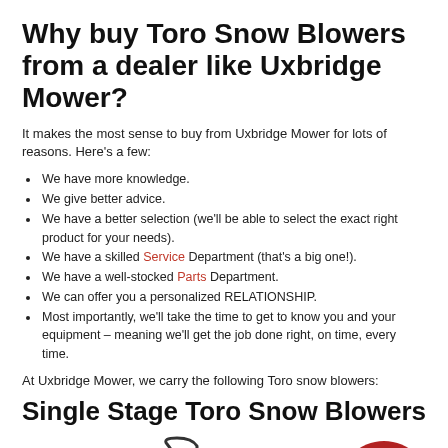Why buy Toro Snow Blowers from a dealer like Uxbridge Mower?
It makes the most sense to buy from Uxbridge Mower for lots of reasons. Here's a few:
We have more knowledge.
We give better advice.
We have a better selection (we'll be able to select the exact right product for your needs).
We have a skilled Service Department (that's a big one!).
We have a well-stocked Parts Department.
We can offer you a personalized RELATIONSHIP.
Most importantly, we'll take the time to get to know you and your equipment – meaning we'll get the job done right, on time, every time.
At Uxbridge Mower, we carry the following Toro snow blowers:
Single Stage Toro Snow Blowers
[Figure (illustration): Partial illustration of a Toro single stage snow blower outline and a red circular badge with '#1 Brand' text]